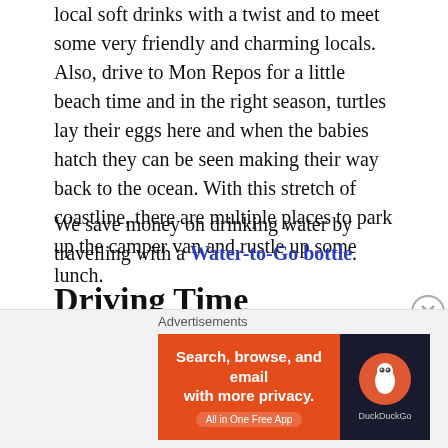local soft drinks with a twist and to meet some very friendly and charming locals. Also, drive to Mon Repos for a little beach time and in the right season, turtles lay their eggs here and when the babies hatch they can be seen making their way back to the ocean. With this stretch of coastline, there are multiple places to park up the camper van and rustle up some lunch.
We save money on drinking water by travelling with a Water-to-Go bottle.
Driving Time
Apple Tree Creek Rest Area to Bundaberg: 40 minutes
Bundaberg to Mon Repos: 15 minutes
Advertisements
[Figure (screenshot): DuckDuckGo advertisement banner: orange background with text 'Search, browse, and email with more privacy. All in One Free App' and DuckDuckGo logo on dark background.]